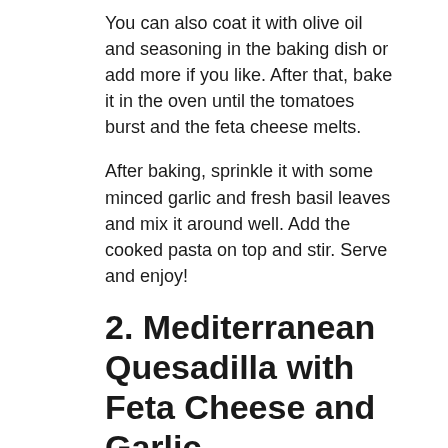You can also coat it with olive oil and seasoning in the baking dish or add more if you like. After that, bake it in the oven until the tomatoes burst and the feta cheese melts.
After baking, sprinkle it with some minced garlic and fresh basil leaves and mix it around well. Add the cooked pasta on top and stir. Serve and enjoy!
2. Mediterranean Quesadilla with Feta Cheese and Garlic
This is a delicious feta cheese recipe. You can add it to your list of easy-to-make dinner ideas. This recipe is perfect for those who love feta